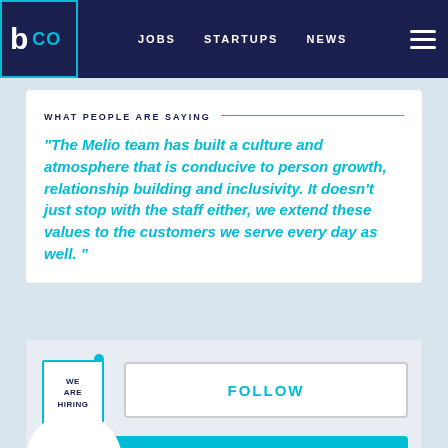b CO  JOBS  STARTUPS  NEWS
WHAT PEOPLE ARE SAYING
"The Melio team has built a culture and atmosphere that is conducive to person growth, relationship building and inclusivity. It doesn't just stop with the staff either, we extend these values to the customers we serve every day as well."
[Figure (illustration): We Are Hiring badge illustration with teal pin]
FOLLOW
VIEW 5 JOBS
[Figure (logo): Scaled Agile circular logo]
SCALED AGILE, INC.
BUSINESS INTELLIGENCE + CONSULTING